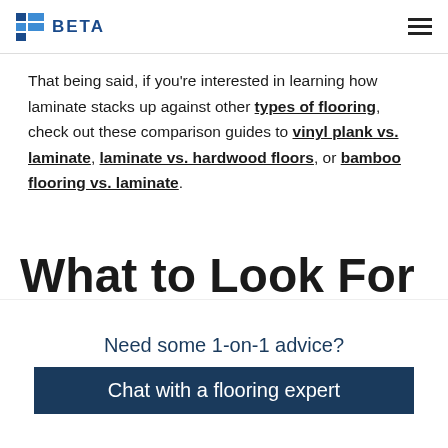BETA
That being said, if you’re interested in learning how laminate stacks up against other types of flooring, check out these comparison guides to vinyl plank vs. laminate, laminate vs. hardwood floors, or bamboo flooring vs. laminate.
What to Look For in a
Need some 1-on-1 advice?
Chat with a flooring expert